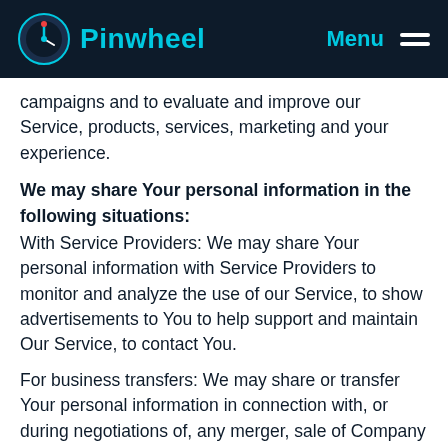Pinwheel — Menu
campaigns and to evaluate and improve our Service, products, services, marketing and your experience.
We may share Your personal information in the following situations:
With Service Providers: We may share Your personal information with Service Providers to monitor and analyze the use of our Service, to show advertisements to You to help support and maintain Our Service, to contact You.
For business transfers: We may share or transfer Your personal information in connection with, or during negotiations of, any merger, sale of Company assets, financing, or acquisition of all or a portion of Our business